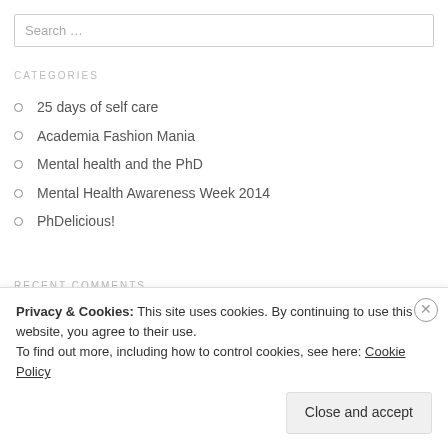Search …
CATEGORIES
25 days of self care
Academia Fashion Mania
Mental health and the PhD
Mental Health Awareness Week 2014
PhDelicious!
RECENT COMMENTS
Yvan Ung on PhD blues: Mental health and t…
Privacy & Cookies: This site uses cookies. By continuing to use this website, you agree to their use.
To find out more, including how to control cookies, see here: Cookie Policy
Close and accept